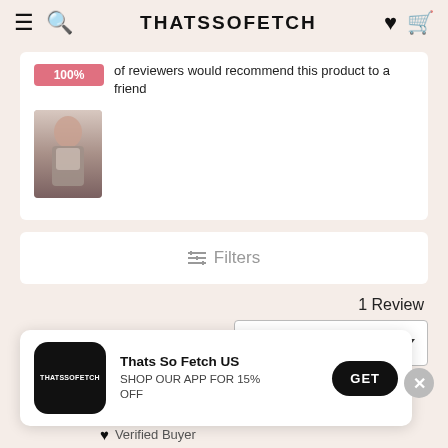THATSSOFETCH
100% of reviewers would recommend this product to a friend
[Figure (photo): Photo of a person taking a mirror selfie, wearing a floral top and dark pants.]
Filters
1 Review
Most Recent
Thats So Fetch US
SHOP OUR APP FOR 15% OFF
GET
Verified Buyer